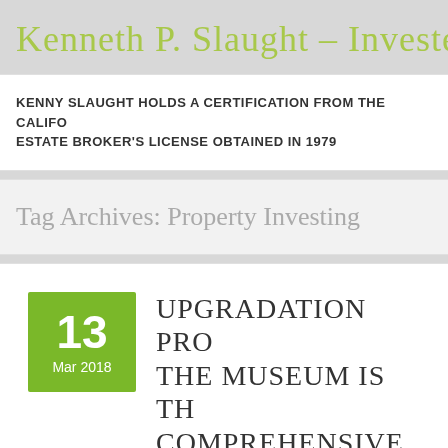Kenneth P. Slaught – Investec –
KENNY SLAUGHT HOLDS A CERTIFICATION FROM THE CALIFORNIA ESTATE BROKER'S LICENSE OBTAINED IN 1979
Tag Archives: Property Investing
UPGRADATION PROJECT THE MUSEUM IS THE COMPREHENSIVE EVER BY KENNY SLAUGHT
by Kenny Slaught · Leave a Comment